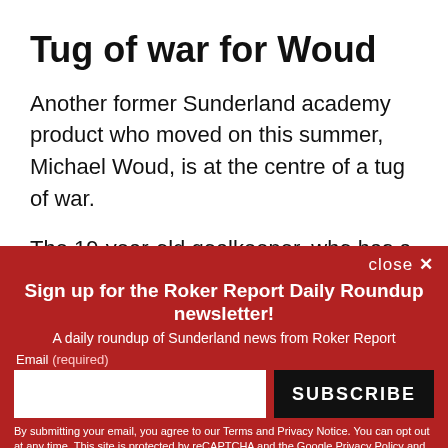Tug of war for Woud
Another former Sunderland academy product who moved on this summer, Michael Woud, is at the centre of a tug of war.
The 19-year-old goalkeeper, who has a Dutch passport, joined Willem II during the summer and is
close ✕
Sign up for the Roker Report Daily Roundup newsletter!
A daily roundup of Sunderland news from Roker Report
Email (required)
SUBSCRIBE
By submitting your email, you agree to our Terms and Privacy Notice. You can opt out at any time. This site is protected by reCAPTCHA and the Google Privacy Policy and Terms of Service apply.